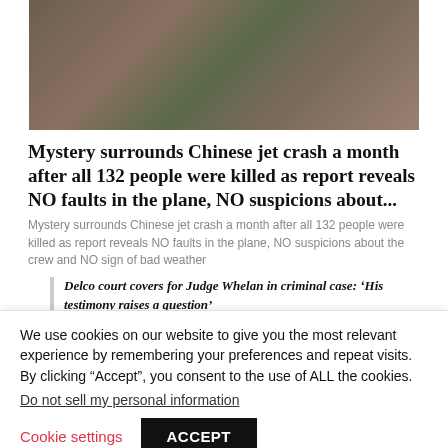[Figure (photo): Aerial or ground view of Chinese jet crash debris on hillside with scattered wreckage]
Mystery surrounds Chinese jet crash a month after all 132 people were killed as report reveals NO faults in the plane, NO suspicions about...
Mystery surrounds Chinese jet crash a month after all 132 people were killed as report reveals NO faults in the plane, NO suspicions about the crew and NO sign of bad weather
Delco court covers for Judge Whelan in criminal case: ‘His testimony raises a question’
We use cookies on our website to give you the most relevant experience by remembering your preferences and repeat visits. By clicking “Accept”, you consent to the use of ALL the cookies.
Do not sell my personal information.
Cookie settings
ACCEPT